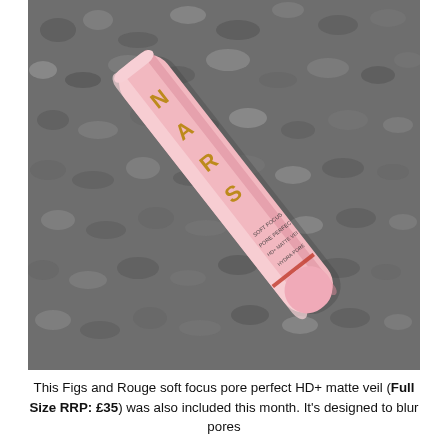[Figure (photo): A pink cylindrical cosmetic tube (Figs and Rouge soft focus pore perfect HD+ matte veil) lying diagonally on a grey textured fabric/carpet background. The tube is pink with gold and dark lettering showing 'SOFT FOCUS PORE PERFEC... HD+ MATTE VEI... HYDRA-PORE...' text. The image is in a slightly desaturated/monochrome style with the pink tube as the primary colour element.]
This Figs and Rouge soft focus pore perfect HD+ matte veil (Full Size RRP: £35) was also included this month. It's designed to blur pores